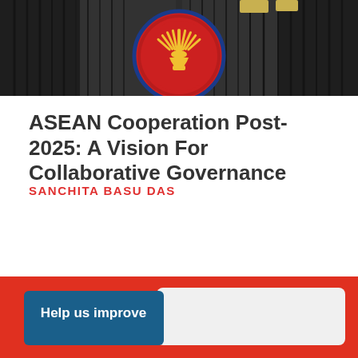[Figure (photo): Photograph of an interior room showing dark curtains and an ASEAN emblem (red circle with gold sheaf of rice stalks) mounted on a wall, with ceiling lights visible in the background.]
ASEAN Cooperation Post-2025: A Vision For Collaborative Governance
SANCHITA BASU DAS
[Figure (infographic): Red banner at bottom of page with a blue 'Help us improve' button on the left and a light grey search/input box on the right.]